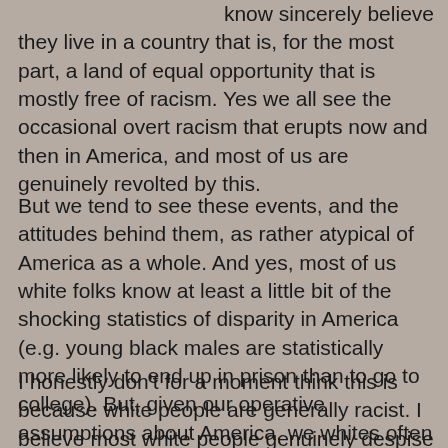know sincerely believe they live in a country that is, for the most part, a land of equal opportunity that is mostly free of racism. Yes we all see the occasional overt racism that erupts now and then in America, and most of us are genuinely revolted by this.
But we tend to see these events, and the attitudes behind them, as rather atypical of America as a whole. And yes, most of us white folks know at least a little bit of the shocking statistics of disparity in America (e.g. young black males are statistically more likely to end up in prison than to go to college). But, given our operative assumptions about America, we whites often either refuse to believe these statistics or, more commonly, we find ways to explain them away.
I honestly don't for a moment think this is because white people are generally racist. I believe most white people genuinely despise